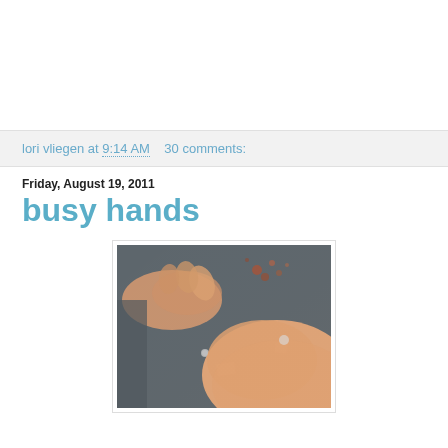lori vliegen at 9:14 AM    30 comments:
Friday, August 19, 2011
busy hands
[Figure (photo): Close-up photograph of hands working on a dark textured surface with small white pieces, blurred foreground hand]